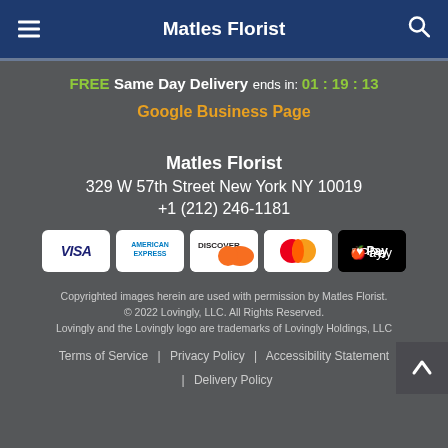Matles Florist
FREE Same Day Delivery ends in: 01 : 19 : 13
Google Business Page
Matles Florist
329 W 57th Street New York NY 10019
+1 (212) 246-1181
[Figure (other): Payment method badges: VISA, American Express, Discover, Mastercard, Apple Pay]
Copyrighted images herein are used with permission by Matles Florist. © 2022 Lovingly, LLC. All Rights Reserved. Lovingly and the Lovingly logo are trademarks of Lovingly Holdings, LLC
Terms of Service | Privacy Policy | Accessibility Statement | Delivery Policy